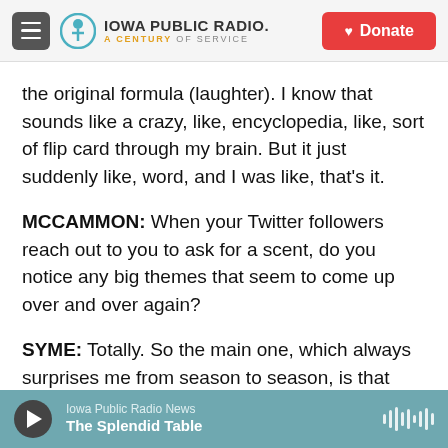Iowa Public Radio. A Century of Service. Donate
the original formula (laughter). I know that sounds like a crazy, like, encyclopedia, like, sort of flip card through my brain. But it just suddenly like, word, and I was like, that's it.
MCCAMMON: When your Twitter followers reach out to you to ask for a scent, do you notice any big themes that seem to come up over and over again?
SYME: Totally. So the main one, which always surprises me from season to season, is that people want to smell like the forest after it's rained or a city after it has rained. Something about post rain feels
Iowa Public Radio News — The Splendid Table